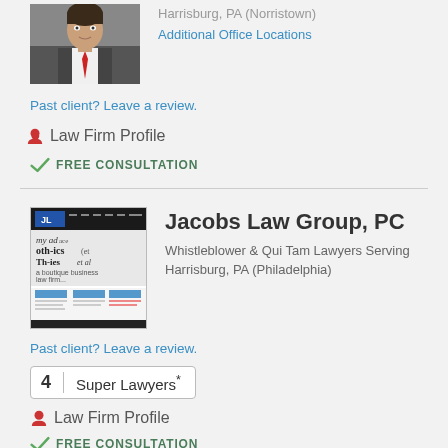[Figure (photo): Headshot photo of a lawyer in a grey suit and red tie]
Harrisburg, PA (Norristown)
Additional Office Locations
Past client? Leave a review.
Law Firm Profile
FREE CONSULTATION
[Figure (screenshot): Screenshot thumbnail of the Jacobs Law Group, PC website with JL logo and newspaper clippings]
Jacobs Law Group, PC
Whistleblower & Qui Tam Lawyers Serving Harrisburg, PA (Philadelphia)
Past client? Leave a review.
4  Super Lawyers*
Law Firm Profile
FREE CONSULTATION